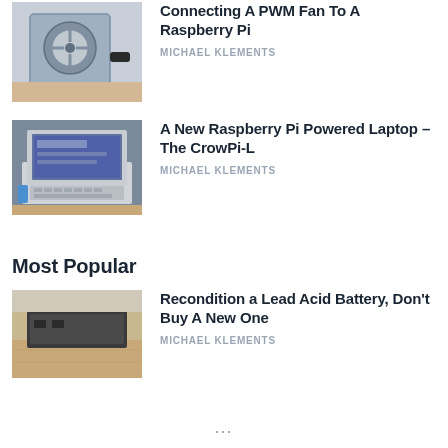[Figure (photo): A Raspberry Pi in a clear acrylic case with a PWM fan mounted on it, sitting on a wooden surface with cables connected.]
Connecting A PWM Fan To A Raspberry Pi
MICHAEL KLEMENTS
[Figure (photo): A small white laptop powered by Raspberry Pi (CrowPi-L) open on a wooden desk with electronics components around it.]
A New Raspberry Pi Powered Laptop – The CrowPi-L
MICHAEL KLEMENTS
Most Popular
[Figure (photo): Lead acid battery components on a wooden surface showing battery plates and case for reconditioning.]
Recondition a Lead Acid Battery, Don't Buy A New One
MICHAEL KLEMENTS